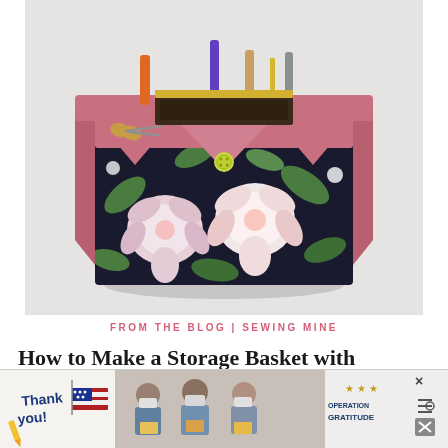[Figure (photo): A fabric storage basket with a tropical floral pattern (black background with large pink and white hibiscus flowers and green leaves) and a pink/rose-colored lining/top edge. The basket has envelope-style flaps at the top front secured with a green button. Various craft/sewing tools including scissors, rulers, markers, and other items are stored inside the basket. The background is a light gray/white.]
FROM THE BLOG | SEWING MINE
How to Make a Storage Basket with
[Figure (photo): Advertisement banner: Left side shows a hand-drawn 'Thank you!' text with an American flag illustration. Center shows three people wearing masks holding boxes. Right side shows 'OPERATION GRATITUDE' logo with stars. Far right shows a close button (x) and a settings icon (three horizontal lines with a circle).]